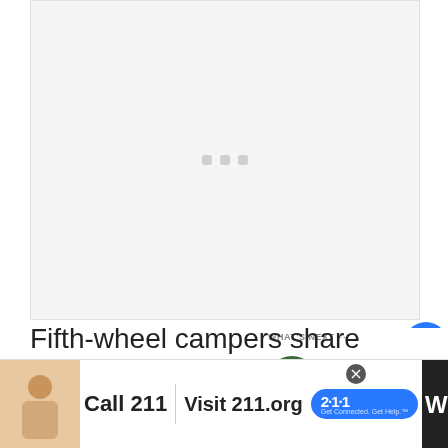[Figure (other): Large image placeholder with loading dots (three small gray squares) on a light gray background]
[Figure (other): Like button (blue circle with heart icon), like count 2, and share button below]
Fifth-wheel campers share many similarities with travel trailers, however, there’s one major difference
[Figure (other): WHAT'S NEXT → thumbnail with 'CONTAINER CAMP' label and title 'What Does Self-Contain...']
[Figure (other): Advertisement banner: child photo, 'Call 211 | Visit 211.org' with 2·1·1 logo, and a VICE/media icon on the right]